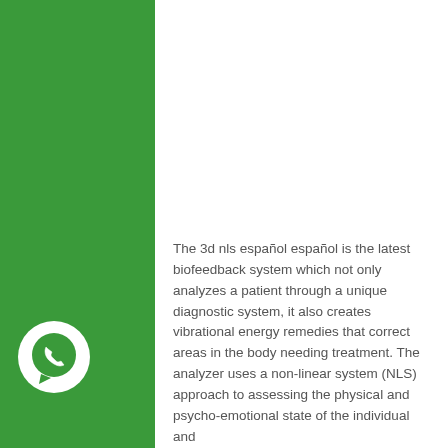The 3d nls español español is the latest biofeedback system which not only analyzes a patient through a unique diagnostic system, it also creates vibrational energy remedies that correct areas in the body needing treatment. The analyzer uses a non-linear system (NLS) approach to assessing the physical and psycho-emotional state of the individual and
[Figure (logo): WhatsApp logo icon — white phone handset on green circle background]